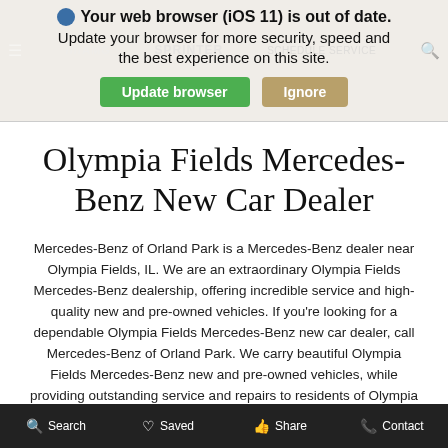[Figure (screenshot): Browser update notification banner with globe icon, text 'Your web browser (iOS 11) is out of date. Update your browser for more security, speed and the best experience on this site.' and two buttons: 'Update browser' (green) and 'Ignore' (tan/gold). Background navigation bar partially visible showing AMG logo, Sprinter text, SCHEDULE SERVICE link.]
Olympia Fields Mercedes-Benz New Car Dealer
Mercedes-Benz of Orland Park is a Mercedes-Benz dealer near Olympia Fields, IL. We are an extraordinary Olympia Fields Mercedes-Benz dealership, offering incredible service and high-quality new and pre-owned vehicles. If you're looking for a dependable Olympia Fields Mercedes-Benz new car dealer, call Mercedes-Benz of Orland Park. We carry beautiful Olympia Fields Mercedes-Benz new and pre-owned vehicles, while providing outstanding service and repairs to residents of Olympia Fields and surrounding areas. Plus, as an Olympia Fields Mercedes-Benz pre-owned car dealership, Mercedes-Benz of Orland Park has many
Search  Saved  Share  Contact